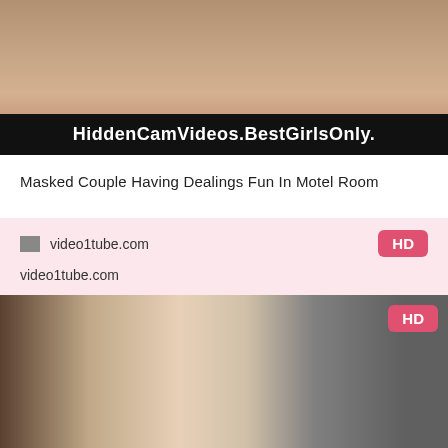[Figure (photo): Top portion of a video thumbnail showing a bedroom scene with a dark banner overlay reading HiddenCamVideos.BestGirlsOnly.]
Masked Couple Having Dealings Fun In Motel Room
[Figure (screenshot): Pink card with video1tube.com logo/favicon, site name text, and HD badge in pink/red on right side]
[Figure (photo): Video thumbnail showing a blonde woman in floral dress on stairs with another person, HD badge in upper right corner]